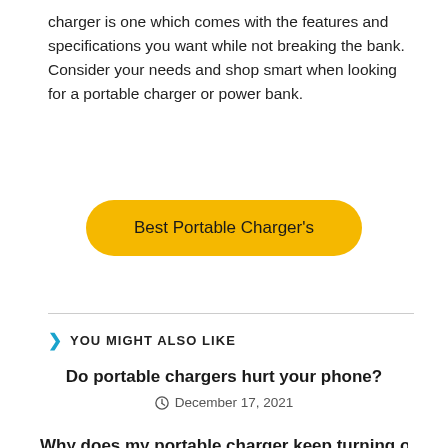charger is one which comes with the features and specifications you want while not breaking the bank. Consider your needs and shop smart when looking for a portable charger or power bank.
[Figure (other): Yellow rounded button with text 'Best Portable Charger's']
YOU MIGHT ALSO LIKE
Do portable chargers hurt your phone?
December 17, 2021
Why does my portable charger keep turning off